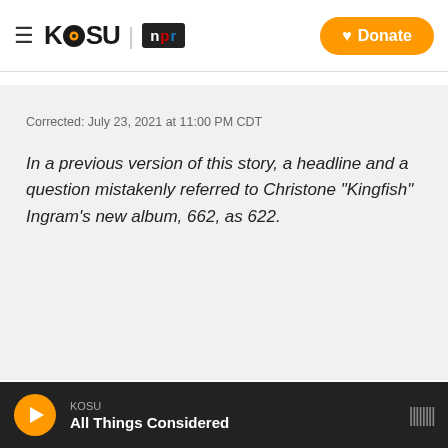KOSU | NPR — Donate
Corrected: July 23, 2021 at 11:00 PM CDT
In a previous version of this story, a headline and a question mistakenly referred to Christone "Kingfish" Ingram's new album, 662, as 622.
Tags  Music  Blues
KOSU — All Things Considered